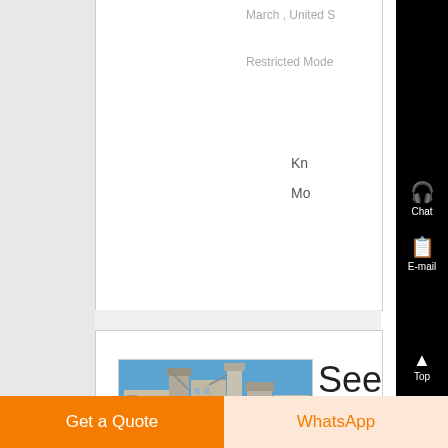March , United S
Restricted Mode
Kn
Mo
[Figure (photo): Industrial facility or plant with large silos, conveyor systems, and scaffolding under a blue sky.]
See the Largest Hemp Farm in th
Get a Quote
WhatsApp